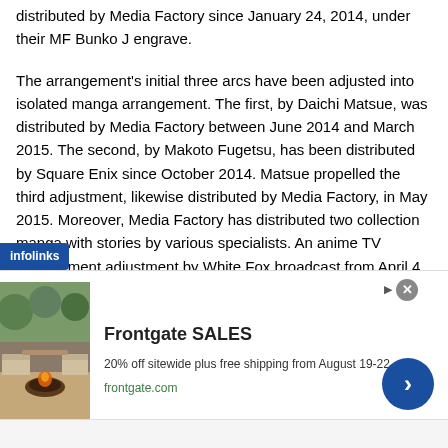distributed by Media Factory since January 24, 2014, under their MF Bunko J engrave.
The arrangement's initial three arcs have been adjusted into isolated manga arrangement. The first, by Daichi Matsue, was distributed by Media Factory between June 2014 and March 2015. The second, by Makoto Fugetsu, has been distributed by Square Enix since October 2014. Matsue propelled the third adjustment, likewise distributed by Media Factory, in May 2015. Moreover, Media Factory has distributed two collection manga with stories by various specialists. An anime TV arrangement adjustment by White Fox broadcast from April 4, 2016 to September 19, 2016, beginning with 60 minutes in
[Figure (screenshot): Advertisement banner from Frontgate showing outdoor furniture with fire pit. Text: 'Frontgate SALES - 20% off sitewide plus free shipping from August 19-22 - frontgate.com'. Blue circular arrow button on right. Infolinks label at bottom-left of main content area. Close button (x) at top-right of ad.]